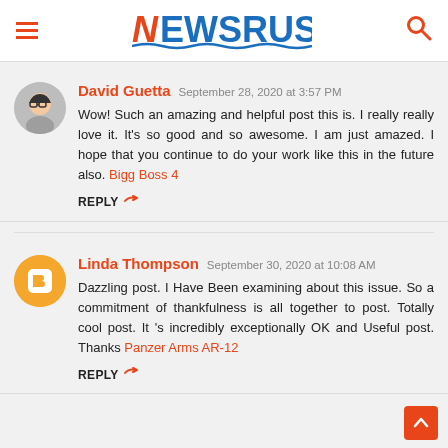NEWSRUST
David Guetta  September 28, 2020 at 3:57 PM
Wow! Such an amazing and helpful post this is. I really really love it. It's so good and so awesome. I am just amazed. I hope that you continue to do your work like this in the future also. Bigg Boss 4
REPLY
Linda Thompson  September 30, 2020 at 10:08 AM
Dazzling post. I Have Been examining about this issue. So a commitment of thankfulness is all together to post. Totally cool post. It 's incredibly exceptionally OK and Useful post. Thanks Panzer Arms AR-12
REPLY